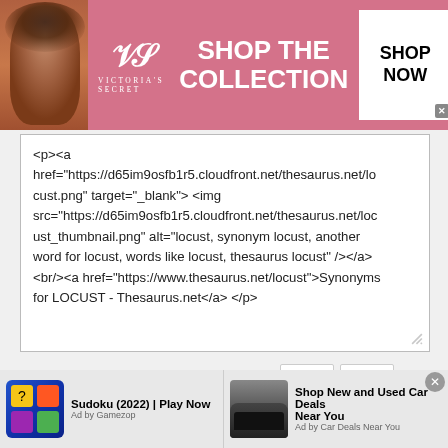[Figure (advertisement): Victoria's Secret pink banner advertisement with woman model, VS logo, 'SHOP THE COLLECTION' text, and 'SHOP NOW' button]
<p><a href="https://d65im9osfb1r5.cloudfront.net/thesaurus.net/locust.png" target="_blank"> <img src="https://d65im9osfb1r5.cloudfront.net/thesaurus.net/locust_thumbnail.png" alt="locust, synonym locust, another word for locust, words like locust, thesaurus locust" /></a> <br/><a href="https://www.thesaurus.net/locust">Synonyms for LOCUST - Thesaurus.net</a> </p>
Home | FAQ | About
DomainOptions, Inc., 7260 W Azure Dr Ste 140-829, Las Vegas, NV 89130 USA. Email: info@domainoptions.net
© 2011-2022 DomainOptions, Inc. Trademarks belong to their respective
[Figure (advertisement): Bottom banner ad: Sudoku (2022) Play Now - Ad by Gamezop]
[Figure (advertisement): Bottom banner ad: Shop New and Used Car Deals Near You - Ad by Car Deals Near You]